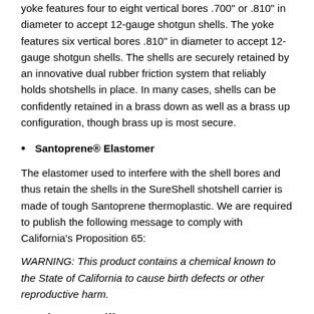yoke features four to eight vertical bores .700" or .810" in diameter to accept 12-gauge shotgun shells. The yoke features six vertical bores .810" in diameter to accept 12-gauge shotgun shells. The shells are securely retained by an innovative dual rubber friction system that reliably holds shotshells in place. In many cases, shells can be confidently retained in a brass down as well as a brass up configuration, though brass up is most secure.
Santoprene® Elastomer
The elastomer used to interfere with the shell bores and thus retain the shells in the SureShell shotshell carrier is made of tough Santoprene thermoplastic. We are required to publish the following message to comply with California's Proposition 65:
WARNING: This product contains a chemical known to the State of California to cause birth defects or other reproductive harm.
Elastomer Stiffnes